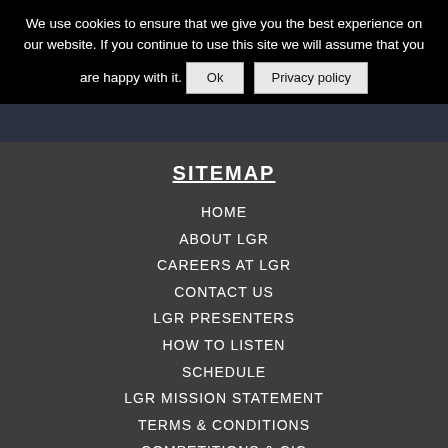We use cookies to ensure that we give you the best experience on our website. If you continue to use this site we will assume that you are happy with it.   Ok   Privacy policy
SITEMAP
HOME
ABOUT LGR
CAREERS AT LGR
CONTACT US
LGR PRESENTERS
HOW TO LISTEN
SCHEDULE
LGR MISSION STATEMENT
TERMS & CONDITIONS
COMPETITIONS & CIC